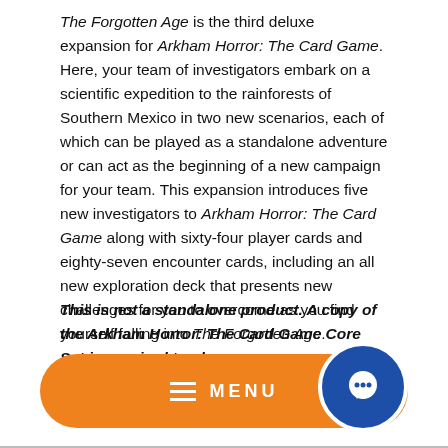The Forgotten Age is the third deluxe expansion for Arkham Horror: The Card Game. Here, your team of investigators embark on a scientific expedition to the rainforests of Southern Mexico in two new scenarios, each of which can be played as a standalone adventure or can act as the beginning of a new campaign for your team. This expansion introduces five new investigators to Arkham Horror: The Card Game along with sixty-four player cards and eighty-seven encounter cards, including an all new exploration deck that presents new challenges for you to overcome as you find yourself falling into The Forgotten Age.
This is not a standalone product. A copy of the Arkham Horror: The Card Game Core Set is required to play.
[Figure (other): Orange rounded rectangle menu bar with hamburger icon and MENU label, plus a blue circular chat button on the right]